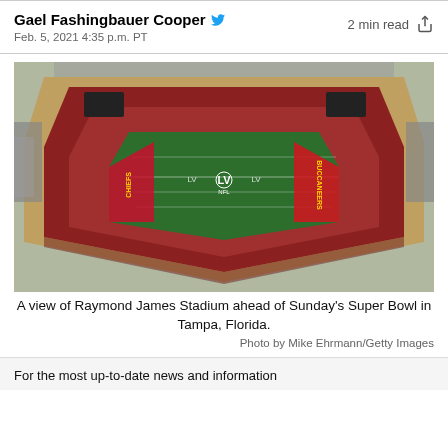Gael Fashingbauer Cooper
Feb. 5, 2021 4:35 p.m. PT
2 min read
[Figure (photo): Aerial view of Raymond James Stadium with Super Bowl LV markings on the field, showing red stadium seating and green football field with Chiefs and Buccaneers end zones.]
A view of Raymond James Stadium ahead of Sunday's Super Bowl in Tampa, Florida.
Photo by Mike Ehrmann/Getty Images
For the most up-to-date news and information